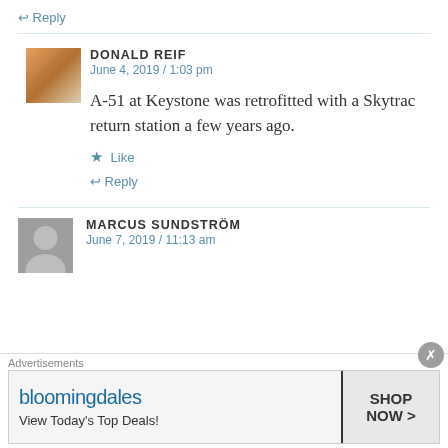↩ Reply
DONALD REIF
June 4, 2019 / 1:03 pm
A-51 at Keystone was retrofitted with a Skytrac return station a few years ago.
★ Like
↩ Reply
MARCUS SUNDSTRÖM
June 7, 2019 / 11:13 am
[Figure (screenshot): Bloomingdale's advertisement banner: 'View Today's Top Deals! SHOP NOW >']